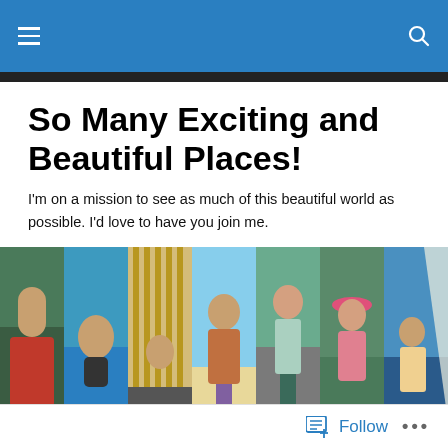Navigation bar with hamburger menu and search icon
So Many Exciting and Beautiful Places!
I'm on a mission to see as much of this beautiful world as possible. I'd love to have you join me.
[Figure (photo): A horizontal photo strip showing seven travel photos: woman kayaking in red life vest, person in blue water, ornate golden gate/palace, woman in colorful jacket at beach, woman standing on rocky cliff, woman in pink floral hat outdoors, woman on sailboat.]
Pawprints, Poop and Plants
Follow  ...